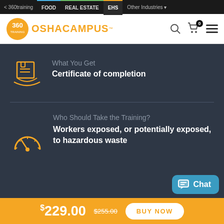< 360training  FOOD  REAL ESTATE  EHS  Other Industries
[Figure (logo): 360 Training OSHA Campus logo with orange 360 circle badge and orange OSHACAMPUS text]
What You Get
Certificate of completion
Who Should Take the Training?
Workers exposed, or potentially exposed, to hazardous waste
$229.00  $255.00  BUY NOW